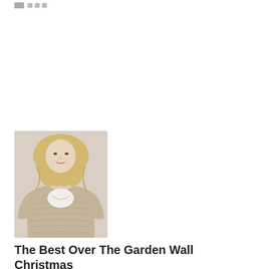[Figure (photo): Woman wearing a beige/tan knit open-front cardigan sweater over a white shirt, with wavy blonde hair]
The Best Over The Garden Wall Christmas Sweater